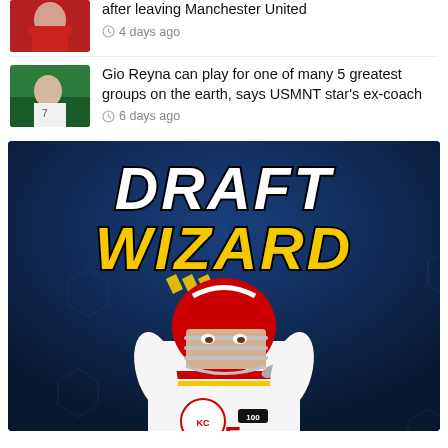after leaving Manchester United
4 days ago
Gio Reyna can play for one of many 5 greatest groups on the earth, says USMNT star's ex-coach
6 days ago
[Figure (photo): Draft Wizard promotional banner featuring NFL player Patrick Mahomes (#15) in Kansas City Chiefs white uniform, with 'DRAFT WIZARD' text overlay on dark blue background with hexagon pattern]